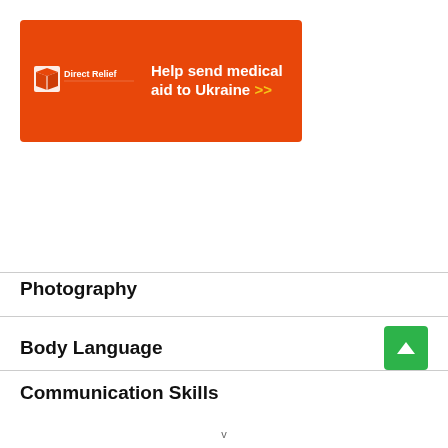[Figure (other): Direct Relief advertisement banner with orange background, white logo and text 'Help send medical aid to Ukraine >>']
Photography
Body Language
Communication Skills